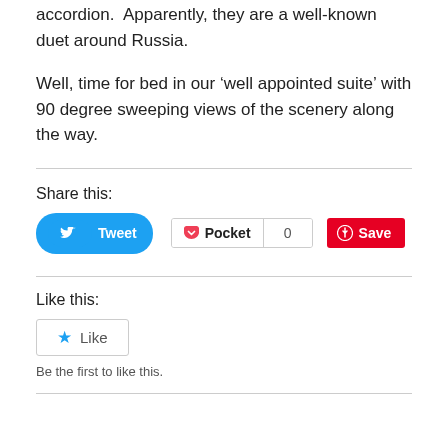accordion.  Apparently, they are a well-known duet around Russia.
Well, time for bed in our ‘well appointed suite’ with 90 degree sweeping views of the scenery along the way.
Share this:
[Figure (other): Social sharing buttons: Tweet (Twitter/blue), Pocket with count 0, Save (Pinterest/red)]
Like this:
[Figure (other): Like button widget with star icon and text 'Like']
Be the first to like this.